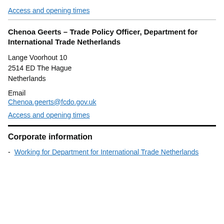Access and opening times
Chenoa Geerts – Trade Policy Officer, Department for International Trade Netherlands
Lange Voorhout 10
2514 ED The Hague
Netherlands
Email
Chenoa.geerts@fcdo.gov.uk
Access and opening times
Corporate information
Working for Department for International Trade Netherlands